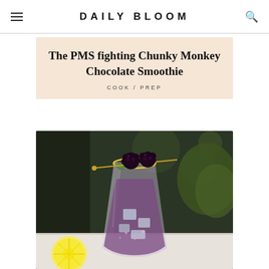DAILY BLOOM
The PMS fighting Chunky Monkey Chocolate Smoothie
COOK / PREP
[Figure (photo): A glass filled with a purplish smoothie drink on ice, garnished with blackberries on a skewer and fresh mint leaves, with a lemon slice on the side, photographed on a marble surface with greenery in the background.]